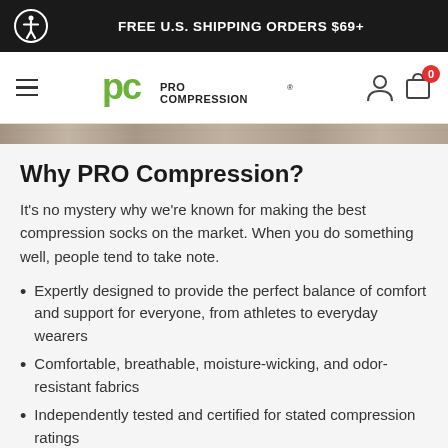FREE U.S. SHIPPING ORDERS $69+
[Figure (logo): PRO Compression logo with stylized PC icon in green and wordmark PRO COMPRESSION in dark gray]
[Figure (photo): Thin horizontal strip showing a textured/woven sock fabric close-up]
Why PRO Compression?
It's no mystery why we're known for making the best compression socks on the market. When you do something well, people tend to take note.
Expertly designed to provide the perfect balance of comfort and support for everyone, from athletes to everyday wearers
Comfortable, breathable, moisture-wicking, and odor-resistant fabrics
Independently tested and certified for stated compression ratings